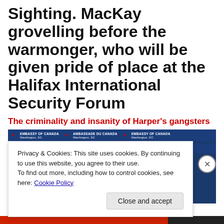Sighting. MacKay grovelling before the warmonger, who will be given pride of place at the Halifax International Security Forum
The criminality and insanity of Harper's gangsters
[Figure (photo): Two men photographed in front of an Embassy of Canada / Ambassade du Canada backdrop with red maple leaf logos on a dark blue background.]
Privacy & Cookies: This site uses cookies. By continuing to use this website, you agree to their use.
To find out more, including how to control cookies, see here: Cookie Policy
Close and accept